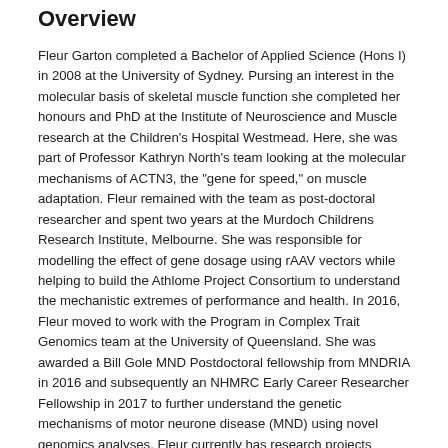Overview
Fleur Garton completed a Bachelor of Applied Science (Hons I) in 2008 at the University of Sydney. Pursing an interest in the molecular basis of skeletal muscle function she completed her honours and PhD at the Institute of Neuroscience and Muscle research at the Children's Hospital Westmead. Here, she was part of Professor Kathryn North's team looking at the molecular mechanisms of ACTN3, the "gene for speed," on muscle adaptation. Fleur remained with the team as post-doctoral researcher and spent two years at the Murdoch Childrens Research Institute, Melbourne. She was responsible for modelling the effect of gene dosage using rAAV vectors while helping to build the Athlome Project Consortium to understand the mechanistic extremes of performance and health. In 2016, Fleur moved to work with the Program in Complex Trait Genomics team at the University of Queensland. She was awarded a Bill Gole MND Postdoctoral fellowship from MNDRIA in 2016 and subsequently an NHMRC Early Career Researcher Fellowship in 2017 to further understand the genetic mechanisms of motor neurone disease (MND) using novel genomics analyses. Fleur currently has research projects based at the Royal Brisbane Womens Hospital and the Mater Hospital and is happy to collaborate with those with similar interests.
Research Interests